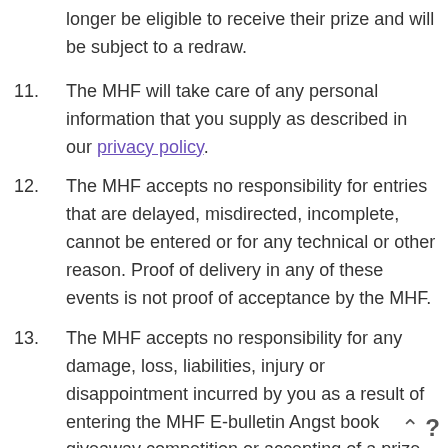longer be eligible to receive their prize and will be subject to a redraw.
11. The MHF will take care of any personal information that you supply as described in our privacy policy.
12. The MHF accepts no responsibility for entries that are delayed, misdirected, incomplete, cannot be entered or for any technical or other reason. Proof of delivery in any of these events is not proof of acceptance by the MHF.
13. The MHF accepts no responsibility for any damage, loss, liabilities, injury or disappointment incurred by you as a result of entering the MHF E-bulletin Angst book giveaway competition or accepting of a prize. The MHF further disclaims liability for any injury or damage your or any other person's technical devices (or a